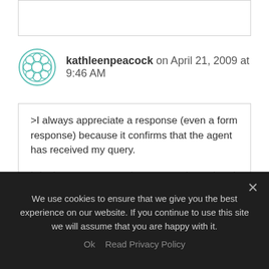kathleenpeacock on April 21, 2009 at 9:46 AM
>I always appreciate a response (even a form response) because it confirms that the agent has received my query.

I don't expect personal responses but, when I have received them, I have appreciated them. Even when the response was something that I disagreed with, even when it stung. I saw it as an indication that I had SOMETHING
We use cookies to ensure that we give you the best experience on our website. If you continue to use this site we will assume that you are happy with it.

Ok   Read Privacy Policy